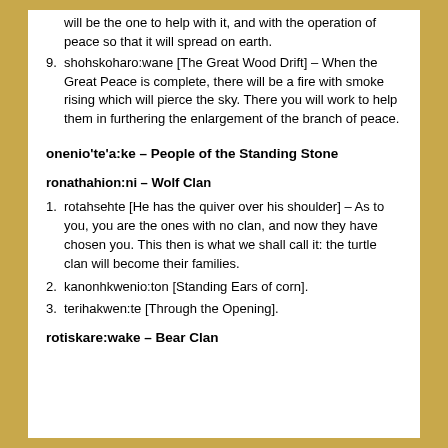will be the one to help with it, and with the operation of peace so that it will spread on earth.
shohskoharo:wane [The Great Wood Drift] – When the Great Peace is complete, there will be a fire with smoke rising which will pierce the sky. There you will work to help them in furthering the enlargement of the branch of peace.
onenio'te'a:ke – People of the Standing Stone
ronathahion:ni – Wolf Clan
rotahsehte [He has the quiver over his shoulder] – As to you, you are the ones with no clan, and now they have chosen you. This then is what we shall call it: the turtle clan will become their families.
kanonhkwenio:ton [Standing Ears of corn].
terihakwen:te [Through the Opening].
rotiskare:wake – Bear Clan